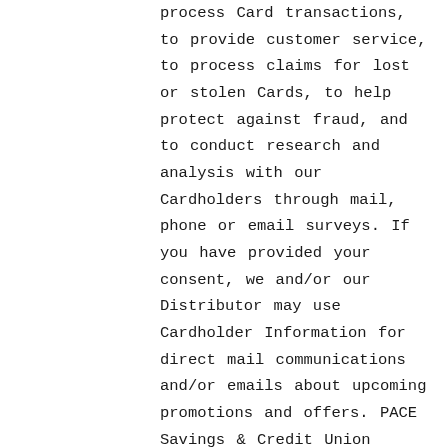process Card transactions, to provide customer service, to process claims for lost or stolen Cards, to help protect against fraud, and to conduct research and analysis with our Cardholders through mail, phone or email surveys. If you have provided your consent, we and/or our Distributor may use Cardholder Information for direct mail communications and/or emails about upcoming promotions and offers. PACE Savings & Credit Union Limited may provide information about you and your participation in the program to the Distributor. PACE Savings & Credit Union Limited may provide certain Cardholder Information to the